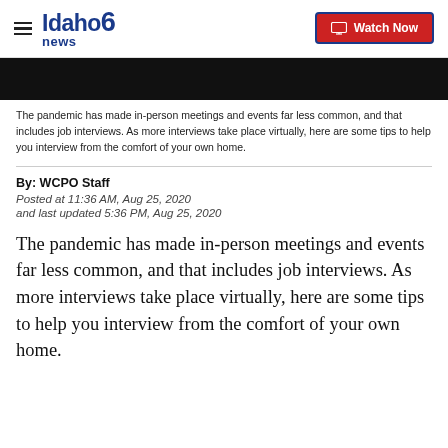Idaho news6 | Watch Now
[Figure (photo): Black video thumbnail strip]
The pandemic has made in-person meetings and events far less common, and that includes job interviews. As more interviews take place virtually, here are some tips to help you interview from the comfort of your own home.
By: WCPO Staff
Posted at 11:36 AM, Aug 25, 2020
and last updated 5:36 PM, Aug 25, 2020
The pandemic has made in-person meetings and events far less common, and that includes job interviews. As more interviews take place virtually, here are some tips to help you interview from the comfort of your own home.